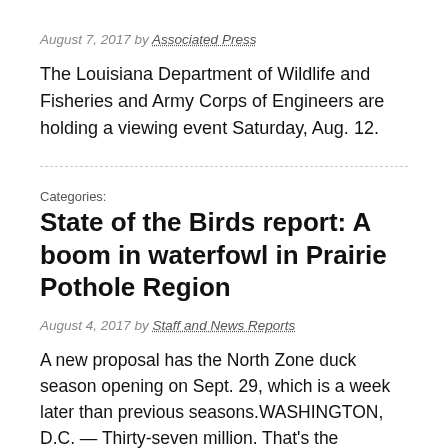August 7, 2017 by Associated Press
The Louisiana Department of Wildlife and Fisheries and Army Corps of Engineers are holding a viewing event Saturday, Aug. 12.
Categories:
State of the Birds report: A boom in waterfowl in Prairie Pothole Region
August 4, 2017 by Staff and News Reports
A new proposal has the North Zone duck season opening on Sept. 29, which is a week later than previous seasons.WASHINGTON, D.C. — Thirty-seven million. That's the increase in the number of waterfowl in the Prairie Pothole Region over the past quarter-